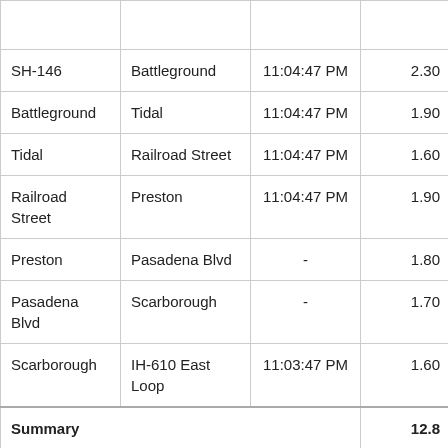|  |  |  |  |  |
| --- | --- | --- | --- | --- |
| SH-146 | Battleground | 11:04:47 PM | 2.30 | 2:1 |
| Battleground | Tidal | 11:04:47 PM | 1.90 | 1:4 |
| Tidal | Railroad Street | 11:04:47 PM | 1.60 | 1:3 |
| Railroad Street | Preston | 11:04:47 PM | 1.90 | 1:5 |
| Preston | Pasadena Blvd | - | 1.80 |  |
| Pasadena Blvd | Scarborough | - | 1.70 |  |
| Scarborough | IH-610 East Loop | 11:03:47 PM | 1.60 | 1:2 |
| Summary |  |  | 12.8 | 8:4 |